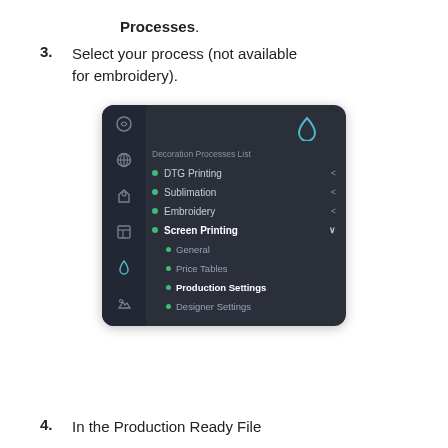Processes.
3. Select your process (not available for embroidery).
[Figure (screenshot): Dark-themed UI sidebar showing Decoration Processes List with items: DTG Printing, Sublimation, Embroidery, Screen Printing (expanded showing General, Price Tables, Production Settings, Designer Settings). Screen Printing is selected with Production Settings highlighted.]
4. In the Production Ready File